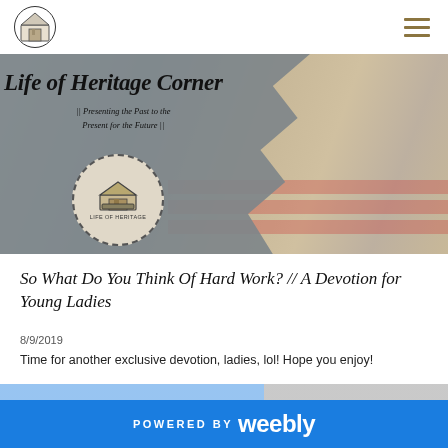Life of Heritage Corner
[Figure (photo): Banner image showing a person typing on a laptop overlaid with an American flag, with torn gray paper overlay containing the site title 'Life of Heritage Corner' and subtitle '|| Presenting the Past to the Present for the Future ||' and a circular logo]
So What Do You Think Of Hard Work? // A Devotion for Young Ladies
8/9/2019
Time for another exclusive devotion, ladies, lol! Hope you enjoy!
POWERED BY weebly